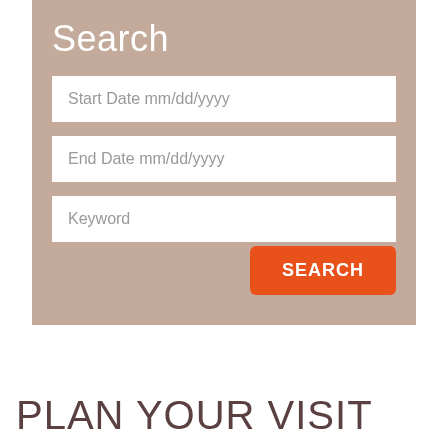Search
Start Date mm/dd/yyyy
End Date mm/dd/yyyy
Keyword
SEARCH
PLAN YOUR VISIT